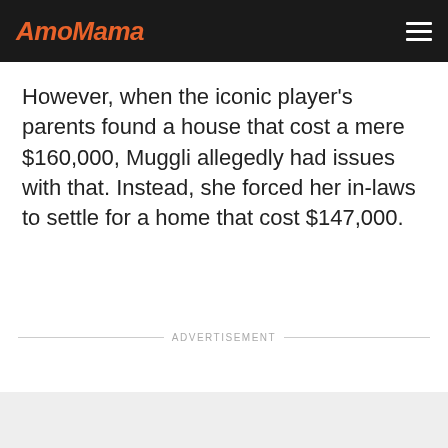AmoMama
However, when the iconic player's parents found a house that cost a mere $160,000, Muggli allegedly had issues with that. Instead, she forced her in-laws to settle for a home that cost $147,000.
ADVERTISEMENT